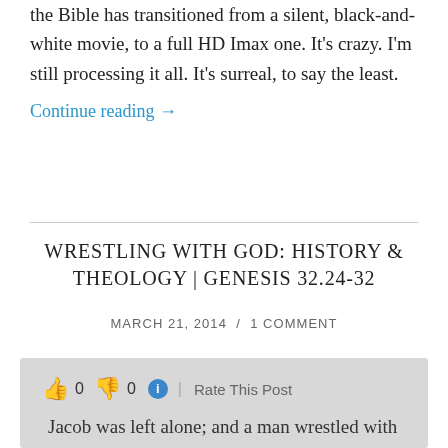the Bible has transitioned from a silent, black-and-white movie, to a full HD Imax one. It's crazy. I'm still processing it all. It's surreal, to say the least.
Continue reading →
WRESTLING WITH GOD: HISTORY & THEOLOGY | GENESIS 32.24-32
MARCH 21, 2014 / 1 COMMENT
👍 0 👎 0 ℹ | Rate This Post
Jacob was left alone; and a man wrestled with him until